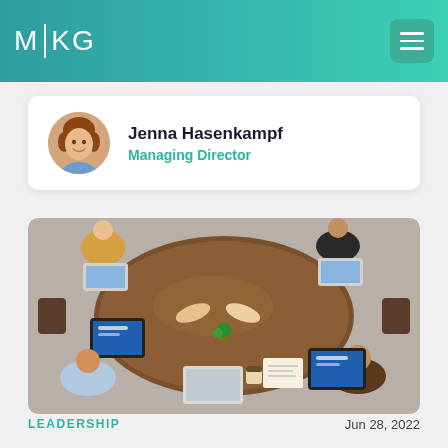MKG
Jenna Hasenkampf
Managing Director
[Figure (photo): Overhead view of a business meeting around a wooden table with people using laptops and tablets, two people shaking hands across the table.]
LEADERSHIP
Jun 28, 2022